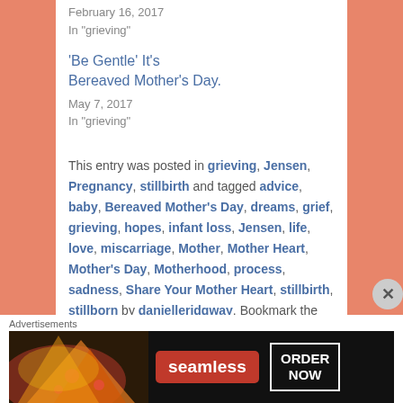February 16, 2017
In "grieving"
'Be Gentle' It's Bereaved Mother's Day.
May 7, 2017
In "grieving"
This entry was posted in grieving, Jensen, Pregnancy, stillbirth and tagged advice, baby, Bereaved Mother's Day, dreams, grief, grieving, hopes, infant loss, Jensen, life, love, miscarriage, Mother, Mother Heart, Mother's Day, Motherhood, process, sadness, Share Your Mother Heart, stillbirth, stillborn by danielleridgway. Bookmark the permalink.
12 THOUGHTS ON "ADVICE FROM A BEREAVED MOTHER."
Advertisements
[Figure (photo): Seamless food delivery advertisement showing pizza slices and ORDER NOW button]